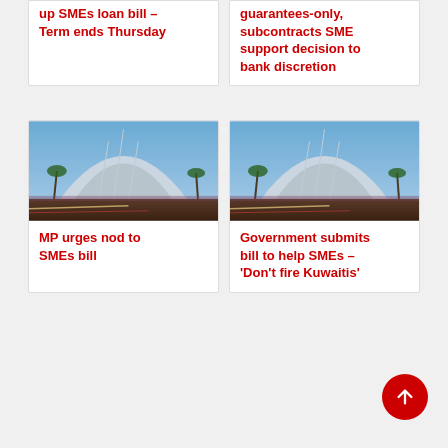up SMEs loan bill – Term ends Thursday
guarantees-only, subcontracts SME support decision to bank discretion
[Figure (photo): Modern architectural building with curved white facade, palm trees visible, blue sky, road in foreground with light trails]
MP urges nod to SMEs bill
[Figure (photo): Modern architectural building with curved white facade, palm trees visible, blue sky, road in foreground with light trails]
Government submits bill to help SMEs – 'Don't fire Kuwaitis'